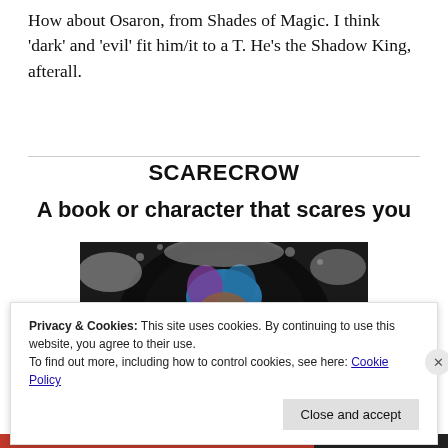How about Osaron, from Shades of Magic.  I think 'dark' and 'evil' fit him/it to a T.  He's the Shadow King, afterall.
SCARECROW
A book or character that scares you
[Figure (illustration): A sinister clown/horror character emerging from a dark circular vortex with splatter effects, blue and orange tones.]
Privacy & Cookies: This site uses cookies. By continuing to use this website, you agree to their use.
To find out more, including how to control cookies, see here: Cookie Policy